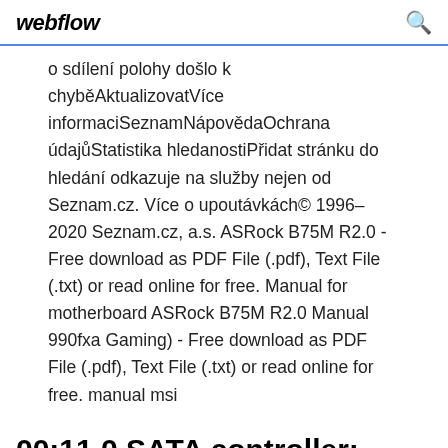webflow
o sdílení polohy došlo k chyběAktualizovatVíce informaciSeznamNápovědaOchrana údajůStatistika hledanostiPřidat stránku do hledání odkazuje na služby nejen od Seznam.cz. Více o upoutávkách© 1996–2020 Seznam.cz, a.s. ASRock B75M R2.0 - Free download as PDF File (.pdf), Text File (.txt) or read online for free. Manual for motherboard ASRock B75M R2.0 Manual 990fxa Gaming) - Free download as PDF File (.pdf), Text File (.txt) or read online for free. manual msi
00:11.0 SATA controller: Advanced Micro Devices, Inc.